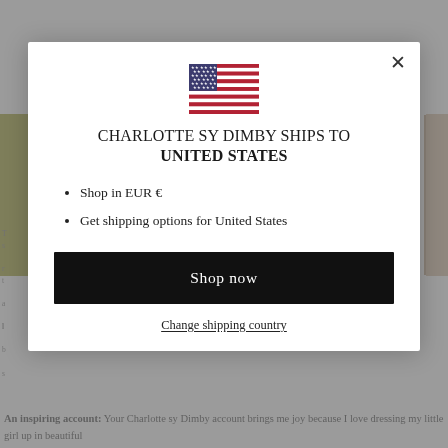[Figure (screenshot): Background webpage partially visible behind a modal dialog, showing a cursive logo at top, a yellow-green image on left, a brown image on right, partial article text on left side, and bottom text about Charlotte sy Dimby account.]
CHARLOTTE SY DIMBY SHIPS TO
UNITED STATES
Shop in EUR €
Get shipping options for United States
Shop now
Change shipping country